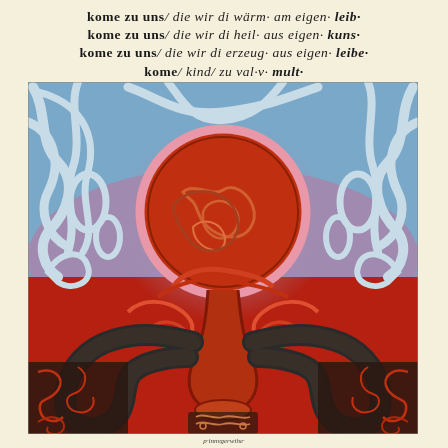kome zu uns/ die wir di wärm· am eigen· leib·
kome zu uns/ die wir di heil· aus eigen· kuns·
kome zu uns/ die wir di erzeug· aus eigen· leibe·
kome/ kind/ zu val-v· mult·
[Figure (illustration): A colorful illustration in a decorative medieval/expressionist style. Upper half has a blue background with swirling white curvilinear patterns. A large circle with a pink border sits in the upper center, filled with intricate red and brown swirling patterns. Below the circle is a purple-grey transitional area giving way to an intense red lower half. In the lower half, two dark serpentine forms curve outward from a central stem-like figure, forming a chalice or goblet shape. The lower portions and corners are filled with dark brownish-black labyrinthine patterns. At the very bottom center is a small ornamental motif.]
p·innvgerwthe·